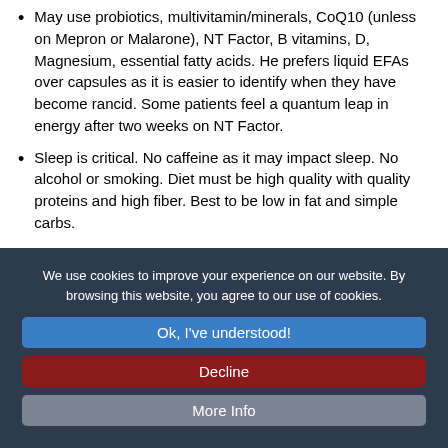May use probiotics, multivitamin/minerals, CoQ10 (unless on Mepron or Malarone), NT Factor, B vitamins, D, Magnesium, essential fatty acids. He prefers liquid EFAs over capsules as it is easier to identify when they have become rancid. Some patients feel a quantum leap in energy after two weeks on NT Factor.
Sleep is critical. No caffeine as it may impact sleep. No alcohol or smoking. Diet must be high quality with quality proteins and high fiber. Best to be low in fat and simple carbs.
Those that believe chronic Lyme is real and is often a
We use cookies to improve your experience on our website. By browsing this website, you agree to our use of cookies.
Ok, I've understood!
Decline
More Info